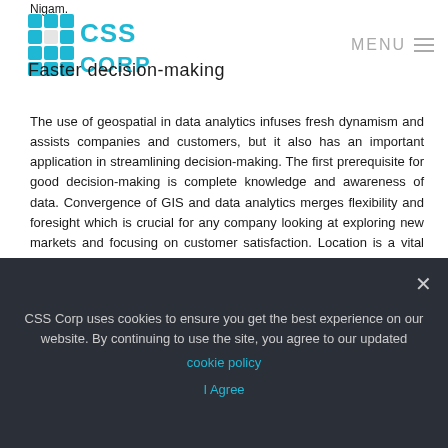Nigam. [CSS Corp logo] Faster decision-making MENU
The use of geospatial in data analytics infuses fresh dynamism and assists companies and customers, but it also has an important application in streamlining decision-making. The first prerequisite for good decision-making is complete knowledge and awareness of data. Convergence of GIS and data analytics merges flexibility and foresight which is crucial for any company looking at exploring new markets and focusing on customer satisfaction. Location is a vital component of geospatial which unravels the complexities and provides new insights about current and emerging trends.
Data analytics has been increasingly leveraged to discover new markets, develop customer insights, create better customer experiences, streamline processes, and drive innovation. It has also become indispensable and provides businesses flexibility and foresight while charting future roadmaps, opines Nigam.
CSS Corp uses cookies to ensure you get the best experience on our website. By continuing to use the site, you agree to our updated cookie policy  I Agree